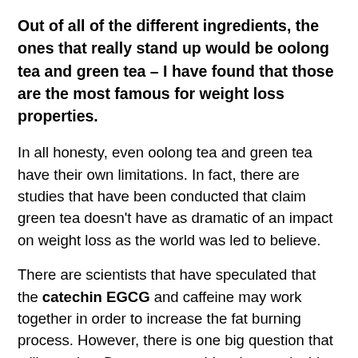Out of all of the different ingredients, the ones that really stand up would be oolong tea and green tea – I have found that those are the most famous for weight loss properties.
In all honesty, even oolong tea and green tea have their own limitations. In fact, there are studies that have been conducted that claim green tea doesn't have as dramatic of an impact on weight loss as the world was led to believe.
There are scientists that have speculated that the catechin EGCG and caffeine may work together in order to increase the fat burning process. However, there is one big question that still remains: Do tea or catechins that are inside of the tea have a big impact on an individual's weight? The evidence for that right there runs pretty thin